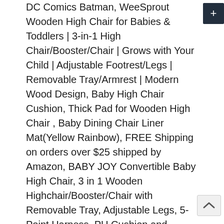DC Comics Batman, WeeSprout Wooden High Chair for Babies & Toddlers | 3-in-1 High Chair/Booster/Chair | Grows with Your Child | Adjustable Footrest/Legs | Removable Tray/Armrest | Modern Wood Design, Baby High Chair Cushion, Thick Pad for Wooden High Chair , Baby Dining Chair Liner Mat(Yellow Rainbow), FREE Shipping on orders over $25 shipped by Amazon, BABY JOY Convertible Baby High Chair, 3 in 1 Wooden Highchair/Booster/Chair with Removable Tray, Adjustable Legs, 5-Point Harness, PU Cushion and Footrest for Baby, Infants, Toddlers (Gray), HAN-MM Baby High Chair with Removable Gray Tray, Wooden High Chair, Adjustable Legs, Harness, Feeding Baby High Chairs for Baby/Infants/Toddlers, Hook On Chair, Clip on High Chair, Fold-Flat Storage Portable Feeding Seat, High Load Design, Attach to Fast Table Chair(Navy Blue), Highchair Footrest for IKEA Antilop Baby Highchair Natural Wood Bamboo Footrest (Natural), Foho Baby High Chair, Perfect 3 in 1 Convertible Wooden High Chair with Cushion, Removable Tray, and Adjustable Legs for Baby & Toddler (Beige), Primo Cozy Tot Deluxe Convertible Folding High Chair & Toddler Chair - Black, Black/White, FUNNY SUPPLY 3-in-1 Cute Folding High Chair, Perfect Modern Space Saving Highchair with Detachable Double Tray, 3-Point Harness, Cream Color,